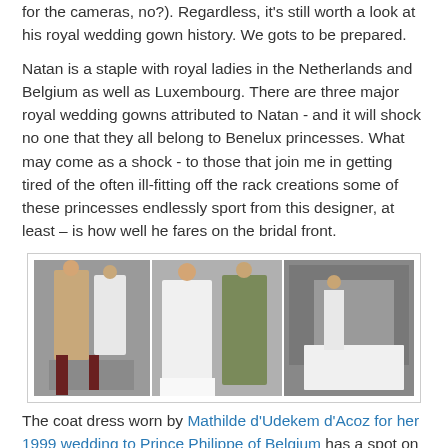for the cameras, no?). Regardless, it's still worth a look at his royal wedding gown history. We gots to be prepared.
Natan is a staple with royal ladies in the Netherlands and Belgium as well as Luxembourg. There are three major royal wedding gowns attributed to Natan - and it will shock no one that they all belong to Benelux princesses. What may come as a shock - to those that join me in getting tired of the often ill-fitting off the rack creations some of these princesses endlessly sport from this designer, at least – is how well he fares on the bridal front.
[Figure (photo): Three photos side by side showing royal weddings: left photo shows a couple walking with the bride in a white coat dress, middle photo shows a couple waving with bride in white gown, right photo shows a wedding party with long white bridal train.]
The coat dress worn by Mathilde d'Udekem d'Acoz for her 1999 wedding to Prince Philippe of Belgium has a spot on my current list of top 10 royal wedding gowns (though, to be honest with you, it would probably get the boot if I redid the list now). It was a wonderful solution for a December